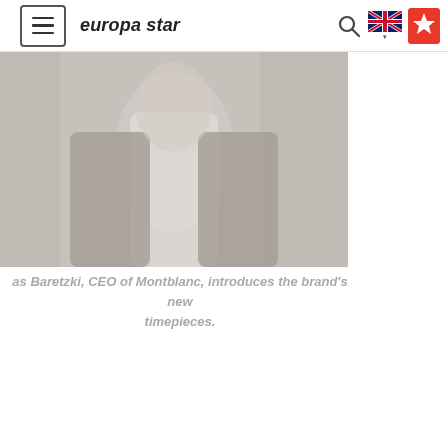europa star
[Figure (photo): Portrait photo of a man in a white shirt and dark blazer, partially cropped, light gray/beige tones]
as Baretzki, CEO of Montblanc, introduces the brand's new timepieces.